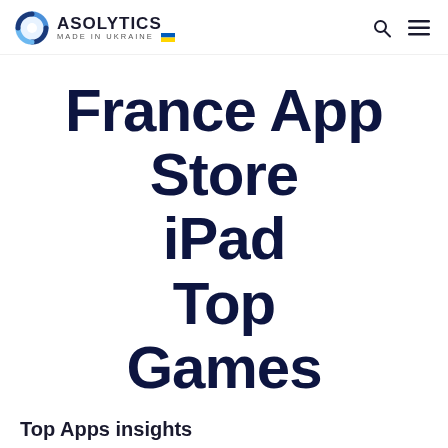ASOLYTICS MADE IN UKRAINE
France App Store iPad Top Games
Top Apps insights
Top 10 (locked)  Top 50 (active)